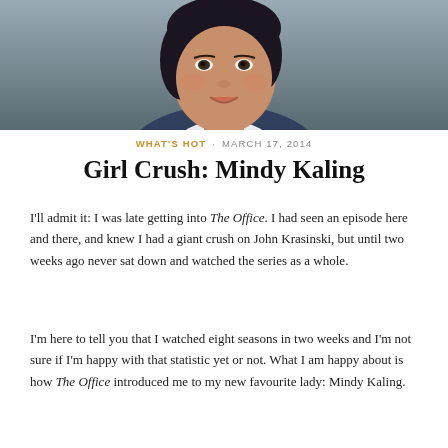[Figure (photo): Close-up portrait photo of a smiling woman with short dark hair, wearing a white top, against a grey background]
WHAT'S HOT · MARCH 17, 2014
Girl Crush: Mindy Kaling
I'll admit it: I was late getting into The Office. I had seen an episode here and there, and knew I had a giant crush on John Krasinski, but until two weeks ago never sat down and watched the series as a whole.
I'm here to tell you that I watched eight seasons in two weeks and I'm not sure if I'm happy with that statistic yet or not. What I am happy about is how The Office introduced me to my new favourite lady: Mindy Kaling.